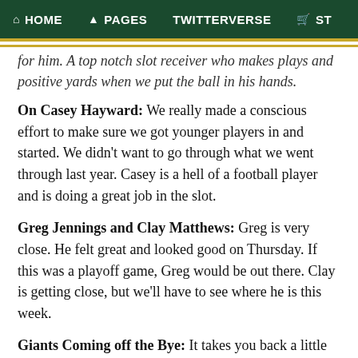HOME  PAGES  TWITTERVERSE  ST
for him. A top notch slot receiver who makes plays and positive yards when we put the ball in his hands.
On Casey Hayward: We really made a conscious effort to make sure we got younger players in and started. We didn't want to go through what we went through last year. Casey is a hell of a football player and is doing a great job in the slot.
Greg Jennings and Clay Matthews: Greg is very close. He felt great and looked good on Thursday. If this was a playoff game, Greg would be out there. Clay is getting close, but we'll have to see where he is this week.
Giants Coming off the Bye: It takes you back a little bit to the beginning of the season. They'll probably give some unscouted looks we haven't seen on film. We'll be playing a refreshed team at home on a Sunday night.